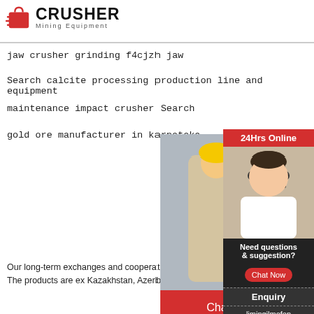[Figure (logo): Crusher Mining Equipment logo with red shopping bag icon and bold CRUSHER text]
jaw crusher grinding f4cjzh jaw
Search calcite processing production line and equipment
maintenance impact crusher Search
gold ore manufacturer in karnataka
[Figure (screenshot): Live chat popup overlay showing workers in hard hats, LIVE CHAT heading, Click for a Free Consultation, Chat now and Chat later buttons, and Crusher Mining Equipment logo]
[Figure (screenshot): Right sidebar with 24Hrs Online, chat agent photo, Need questions & suggestion? Chat Now button, Enquiry section, and limingjlmofen@sina.com email]
Our long-term exchanges and cooperation with overseas not only kept the company's products at a high level, but range of international markets. The products are ex Kazakhstan, Azerbaijan, Turkey, Kuwait, South Africa Malaysia, Countries and regions such as India, Austra